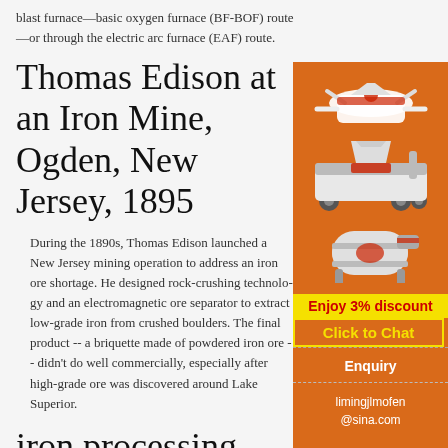blast furnace—basic oxygen furnace (BF-BOF) route—or through the electric arc furnace (EAF) route.
Thomas Edison at an Iron Mine, Ogden, New Jersey, 1895
During the 1890s, Thomas Edison launched a New Jersey mining operation to address an iron ore shortage. He designed rock-crushing technology and an electromagnetic ore separator to extract low-grade iron from crushed boulders. The final product -- a briquette made of powdered iron ore -- didn't do well commercially, especially after high-grade ore was discovered around Lake Superior.
iron processing - Ores | Britannica
[Figure (illustration): Advertisement panel for mining machinery on orange background with images of crushers and mills, discount offer text, enquiry button, and contact email limingjlmofen@sina.com]